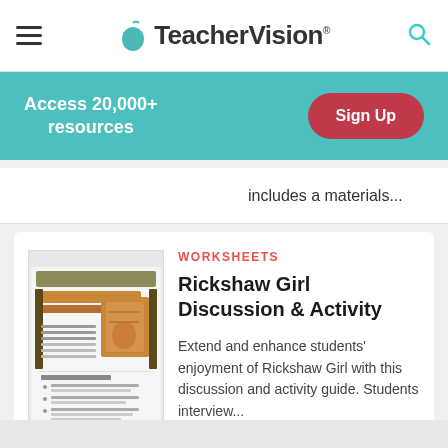TeacherVision
Access 20,000+ resources
Sign Up
includes a materials...
WORKSHEETS
Rickshaw Girl Discussion & Activity
Extend and enhance students' enjoyment of Rickshaw Girl with this discussion and activity guide. Students interview...
[Figure (illustration): Thumbnail image of Rickshaw Girl Discussion & Activity worksheet document]